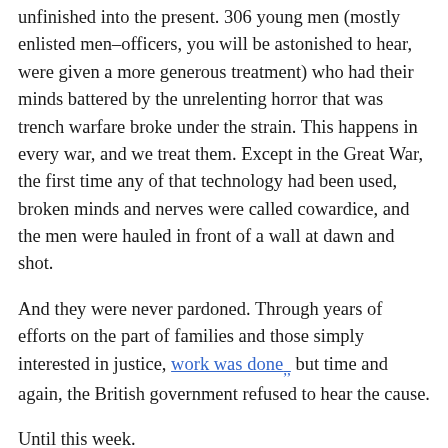unfinished into the present. 306 young men (mostly enlisted men–officers, you will be astonished to hear, were given a more generous treatment) who had their minds battered by the unrelenting horror that was trench warfare broke under the strain. This happens in every war, and we treat them. Except in the Great War, the first time any of that technology had been used, broken minds and nerves were called cowardice, and the men were hauled in front of a wall at dawn and shot.
And they were never pardoned. Through years of efforts on the part of families and those simply interested in justice, work was done,, but time and again, the British government refused to hear the cause.
Until this week.
Des Browne, the Minister for Defence, yesterday